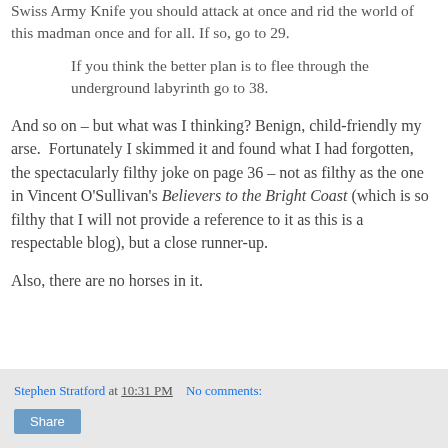Swiss Army Knife you should attack at once and rid the world of this madman once and for all. If so, go to 29.
If you think the better plan is to flee through the underground labyrinth go to 38.
And so on – but what was I thinking? Benign, child-friendly my arse.  Fortunately I skimmed it and found what I had forgotten, the spectacularly filthy joke on page 36 – not as filthy as the one in Vincent O'Sullivan's Believers to the Bright Coast (which is so filthy that I will not provide a reference to it as this is a respectable blog), but a close runner-up.
Also, there are no horses in it.
Stephen Stratford at 10:31 PM    No comments:   Share